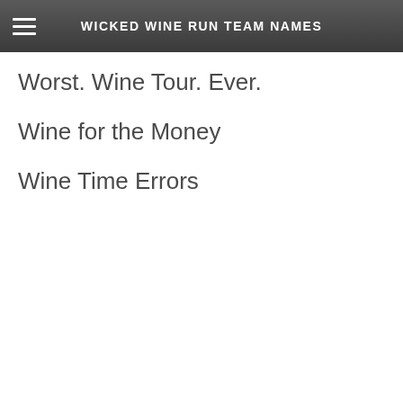WICKED WINE RUN TEAM NAMES
Worst. Wine Tour. Ever.
Wine for the Money
Wine Time Errors